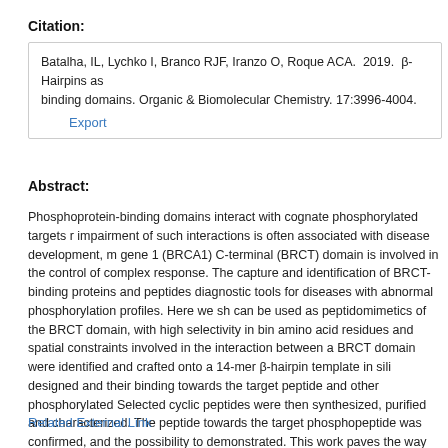Citation:
Batalha, IL, Lychko I, Branco RJF, Iranzo O, Roque ACA.  2019.  β-Hairpins as binding domains. Organic & Biomolecular Chemistry. 17:3996-4004.
Export
Abstract:
Phosphoprotein-binding domains interact with cognate phosphorylated targets r impairment of such interactions is often associated with disease development, m gene 1 (BRCA1) C-terminal (BRCT) domain is involved in the control of complex response. The capture and identification of BRCT-binding proteins and peptides diagnostic tools for diseases with abnormal phosphorylation profiles. Here we sh can be used as peptidomimetics of the BRCT domain, with high selectivity in bin amino acid residues and spatial constraints involved in the interaction between a BRCT domain were identified and crafted onto a 14-mer β-hairpin template in sili designed and their binding towards the target peptide and other phosphorylated Selected cyclic peptides were then synthesized, purified and characterized. The peptide towards the target phosphopeptide was confirmed, and the possibility to demonstrated. This work paves the way for the development of cyclic β-hairpin p reagents for the highly selective identification and capture of target molecules.
Related External Link